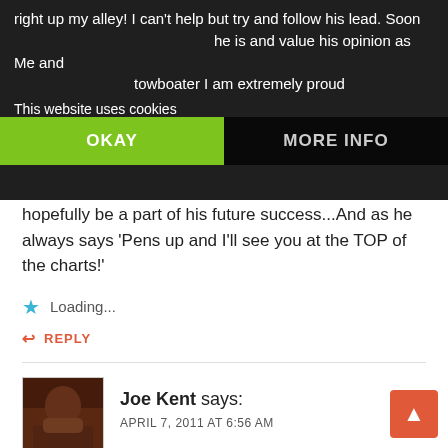right up my alley! I can't help but try and follow his lead. Soon he is and value his opinion as Me and towboater I am extremely proud hopefully be a part of his future success...And as he always says 'Pens up and I'll see you at the TOP of the charts!'
This website uses cookies
OKAY
MORE INFO
Loading...
REPLY
Joe Kent says:
APRIL 7, 2011 AT 6:56 AM
Jason aka Chief-What this world needs is a little more Boat Trash so we can take our country back!! Your latest songwriting effort I Just Saw Red sent cold chills all over me and really effected me!! When a songwriter can evoke emotional response from his listeners like that then he has done his job well!! On top of that your delivery is filled with